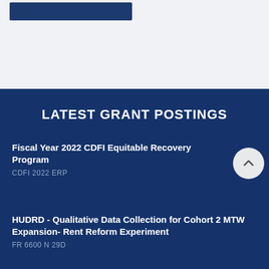[Figure (other): Blue button/banner element in top light-grey section]
LATEST GRANT POSTINGS
Fiscal Year 2022 CDFI Equitable Recovery Program
CDFI 2022 ERP
HUDRD - Qualitative Data Collection for Cohort 2 MTW Expansion- Rent Reform Experiment
FR 6600 N 29D